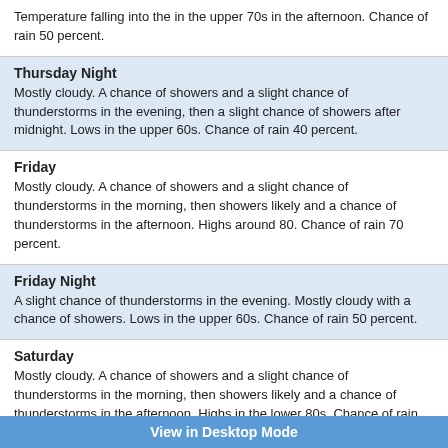Temperature falling into the in the upper 70s in the afternoon. Chance of rain 50 percent.
Thursday Night
Mostly cloudy. A chance of showers and a slight chance of thunderstorms in the evening, then a slight chance of showers after midnight. Lows in the upper 60s. Chance of rain 40 percent.
Friday
Mostly cloudy. A chance of showers and a slight chance of thunderstorms in the morning, then showers likely and a chance of thunderstorms in the afternoon. Highs around 80. Chance of rain 70 percent.
Friday Night
A slight chance of thunderstorms in the evening. Mostly cloudy with a chance of showers. Lows in the upper 60s. Chance of rain 50 percent.
Saturday
Mostly cloudy. A chance of showers and a slight chance of thunderstorms in the morning, then showers likely and a chance of thunderstorms in the afternoon. Highs in the lower 80s. Chance of rain 70 percent.
Saturday Night
Mostly cloudy. A chance of showers and a slight chance of thunderstorms in the evening, then a slight chance of showers after midnight. Lows in the upper 60s. Chance of rain 40 percent.
Sunday
Mostly cloudy. A slight chance of thunderstorms in the morning, then a chance of showers and thunderstorms in the afternoon. Highs in the lower 80s.
View in Desktop Mode